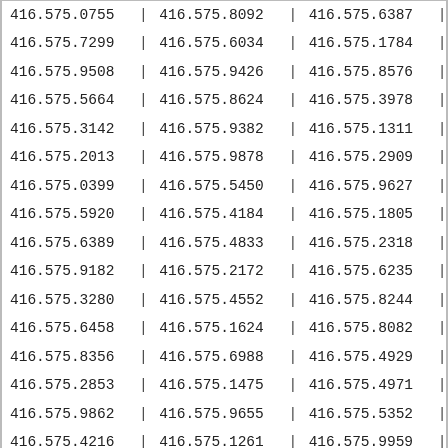| Col1 | Col2 | Col3 |
| --- | --- | --- |
| 416.575.0755 | 416.575.8092 | 416.575.6387 |
| 416.575.7299 | 416.575.6034 | 416.575.1784 |
| 416.575.9508 | 416.575.9426 | 416.575.8576 |
| 416.575.5664 | 416.575.8624 | 416.575.3978 |
| 416.575.3142 | 416.575.9382 | 416.575.1311 |
| 416.575.2013 | 416.575.9878 | 416.575.2909 |
| 416.575.0399 | 416.575.5450 | 416.575.9627 |
| 416.575.5920 | 416.575.4184 | 416.575.1805 |
| 416.575.6389 | 416.575.4833 | 416.575.2318 |
| 416.575.9182 | 416.575.2172 | 416.575.6235 |
| 416.575.3280 | 416.575.4552 | 416.575.8244 |
| 416.575.6458 | 416.575.1624 | 416.575.8082 |
| 416.575.8356 | 416.575.6988 | 416.575.4929 |
| 416.575.2853 | 416.575.1475 | 416.575.4971 |
| 416.575.9862 | 416.575.9655 | 416.575.5352 |
| 416.575.4216 | 416.575.1261 | 416.575.9959 |
| 416.575.9947 | 416.575.2175 | 416.575.9589 |
| 416.575.0814 | 416.575.0306 | 416.575.9242 |
| 416.575.4700 | 416.575.0170 | 416.575.1050 |